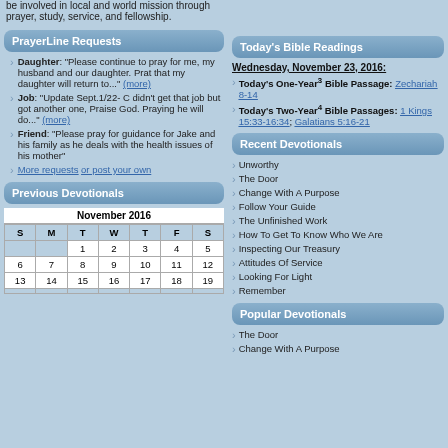be involved in local and world mission through prayer, study, service, and fellowship.
PrayerLine Requests
Daughter: "Please continue to pray for me, my husband and our daughter. Prat that my daughter will return to..." (more)
Job: "Update Sept.1/22- C didn't get that job but got another one, Praise God. Praying he will do..." (more)
Friend: "Please pray for guidance for Jake and his family as he deals with the health issues of his mother"
More requests or post your own
Previous Devotionals
| S | M | T | W | T | F | S |
| --- | --- | --- | --- | --- | --- | --- |
|  |  | 1 | 2 | 3 | 4 | 5 |
| 6 | 7 | 8 | 9 | 10 | 11 | 12 |
| 13 | 14 | 15 | 16 | 17 | 18 | 19 |
|  |  |  |  |  |  |  |
Today's Bible Readings
Wednesday, November 23, 2016:
Today's One-Year³ Bible Passage: Zechariah 8-14
Today's Two-Year⁴ Bible Passages: 1 Kings 15:33-16:34; Galatians 5:16-21
Recent Devotionals
Unworthy
The Door
Change With A Purpose
Follow Your Guide
The Unfinished Work
How To Get To Know Who We Are
Inspecting Our Treasury
Attitudes Of Service
Looking For Light
Remember
Popular Devotionals
The Door
Change With A Purpose